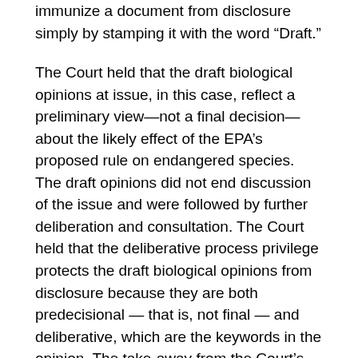immunize a document from disclosure simply by stamping it with the word “Draft.”
The Court held that the draft biological opinions at issue, in this case, reflect a preliminary view—not a final decision—about the likely effect of the EPA’s proposed rule on endangered species. The draft opinions did not end discussion of the issue and were followed by further deliberation and consultation. The Court held that the deliberative process privilege protects the draft biological opinions from disclosure because they are both predecisional — that is, not final — and deliberative, which are the keywords in the opinion. The take-away from the Court’s opinion is that if a document was generated before a final decision (predecisional) and if it was part of the decision-making (deliberative) process, then the document is covered by the deliberative